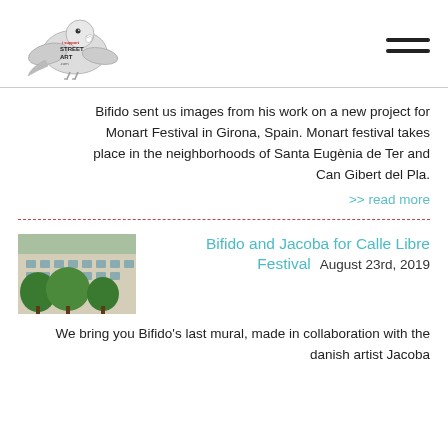[Figure (logo): I Support Street Art .com logo with a pigeon/shark illustration]
Bifido sent us images from his work on a new project for Monart Festival in Girona, Spain. Monart festival takes place in the neighborhoods of Santa Eugènia de Ter and Can Gibert del Pla.
>> read more
[Figure (photo): Exterior photo of a building with trees, related to Calle Libre Festival]
Bifido and Jacoba for Calle Libre Festival  August 23rd, 2019
We bring you Bifido's last mural, made in collaboration with the danish artist Jacoba